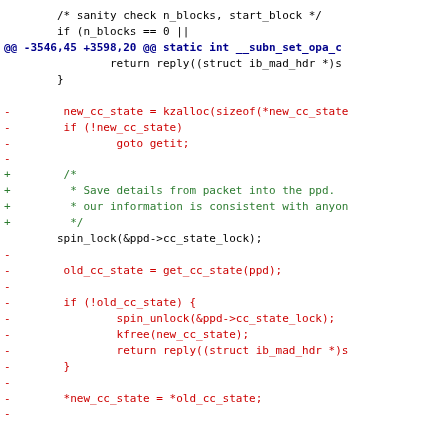[Figure (screenshot): A git diff / patch view showing code changes in a C source file. Context lines are black, removed lines (prefixed with -) are red, added lines (prefixed with +) are green, and the hunk header line is dark blue. The diff shows changes around functions dealing with cc_state, spin_lock, and related InfiniBand driver code.]